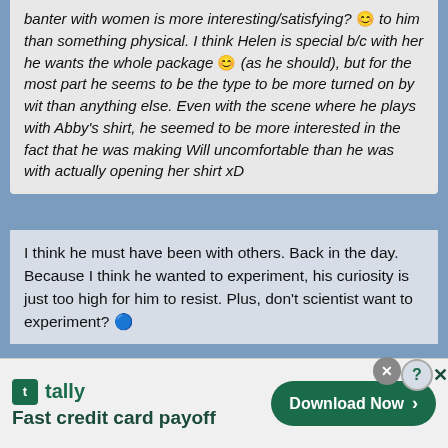banter with women is more interesting/satisfying? 😊 to him than something physical. I think Helen is special b/c with her he wants the whole package 😊 (as he should), but for the most part he seems to be the type to be more turned on by wit than anything else. Even with the scene where he plays with Abby's shirt, he seemed to be more interested in the fact that he was making Will uncomfortable than he was with actually opening her shirt xD
I think he must have been with others. Back in the day. Because I think he wanted to experiment, his curiosity is just too high for him to resist. Plus, don't scientist want to experiment? 😊
Originally posted by Altariel OMG, then Nikola could be virgin *giggle* If that really would be the case then it is not easier for him to be with Helen some day, but nah I don't believe that...
[Figure (other): Tally app advertisement banner: Fast credit card payoff, Download Now button]